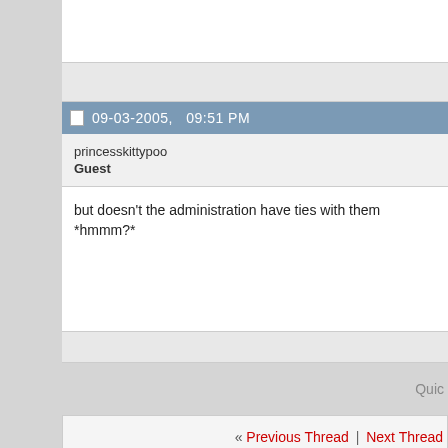09-03-2005,   09:51 PM
princesskittypoo
Guest
but doesn't the administration have ties with them *hmmm?*
Quic
« Previous Thread | Next Thread »
Similar Threads
Former Bush Aide Who Edited Reports Is Hired By Exxon
By Gold9472 in forum The New News
Lobbyist Hired By India On U.S. Arms Dealers' Payroll
By Gold9472 in forum The New News
The Clean Sports Act of 2005